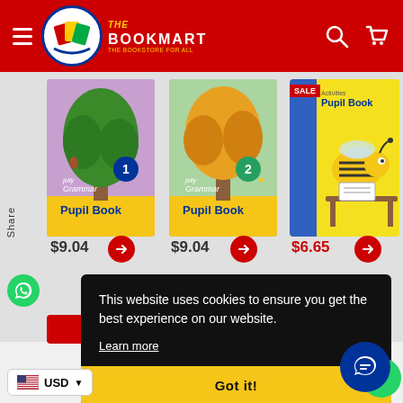[Figure (screenshot): The Bookmart website header with red background, hamburger menu, logo, search and cart icons]
[Figure (photo): Jolly Grammar 1 Pupil Book cover - purple background with green tree]
$9.04
[Figure (photo): Jolly Grammar 2 Pupil Book cover - teal background with yellow tree]
$9.04
[Figure (photo): Pupil Book cover with SALE badge - yellow background with bee illustration]
$6.65
This website uses cookies to ensure you get the best experience on our website.
Learn more
Got it!
USD